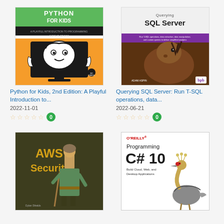[Figure (illustration): Book cover: Python for Kids, 2nd Edition – green and black top bar with title, orange section with cartoon computer monitor showing a face, hands raised]
Python for Kids, 2nd Edition: A Playful Introduction to...
2022-11-01
☆☆☆☆☆ 0
[Figure (illustration): Book cover: Querying SQL Server – purple and pink gradient background with close-up photo of a horse's face, bpb publisher logo]
Querying SQL Server: Run T-SQL operations, data...
2022-06-21
☆☆☆☆☆ 0
[Figure (illustration): Book cover: AWS Security – dark olive/brown background with illustration of a historical figure in green clothing holding a staff, yellow AWS Security title text]
[Figure (illustration): Book cover: Programming C# 10 – O'Reilly, white background with large black title text and illustration of a grey crowned crane bird]